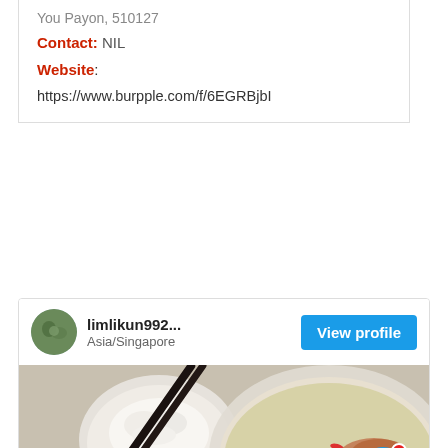You Payon, 510127
Contact: NIL
Website:
https://www.burpple.com/f/6EGRBjbI
limlikun992... Asia/Singapore
[Figure (photo): Food photo showing a bowl of soup with fish, broccoli, red chili, topped with dried shrimp/bonito flakes, with chopsticks resting across the bowl, a small bowl of white rice, and a small dark bowl of chili sauce]
[Figure (other): Chat bubble button with blue circle and red notification dot]